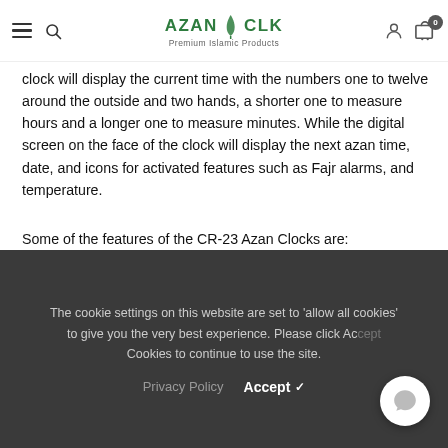AZAN CLK - Premium Islamic Products
clock will display the current time with the numbers one to twelve around the outside and two hands, a shorter one to measure hours and a longer one to measure minutes. While the digital screen on the face of the clock will display the next azan time, date, and icons for activated features such as Fajr alarms, and temperature.
Some of the features of the CR-23 Azan Clocks are:
Worldwide Prayer times.
The cookie settings on this website are set to 'allow all cookies' to give you the very best experience. Please click Accept Cookies to continue to use the site.